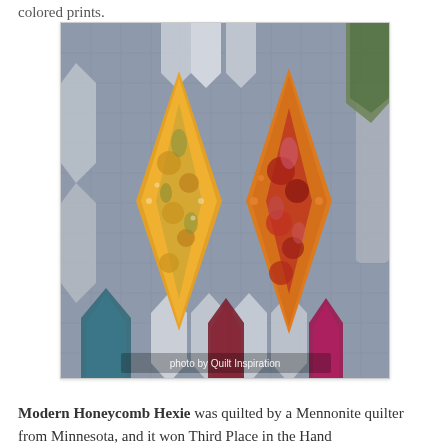colored prints.
[Figure (photo): Close-up photograph of a Modern Honeycomb Hexie quilt showing elongated diamond hexie shapes in yellow/gold with floral print and orange with red floral print, on a gray quilted background with white hexagonal shapes. Watermark reads 'photo by Quilt Inspiration'.]
Modern Honeycomb Hexie was quilted by a Mennonite quilter from Minnesota, and it won Third Place in the Hand